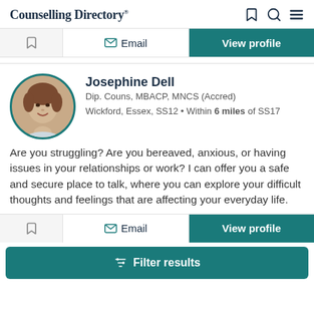Counselling Directory
[Figure (screenshot): Top action bar with bookmark, Email, and View profile buttons]
[Figure (photo): Circular profile photo of Josephine Dell, a woman with short brown hair, smiling]
Josephine Dell
Dip. Couns, MBACP, MNCS (Accred)
Wickford, Essex, SS12 • Within 6 miles of SS17
Are you struggling? Are you bereaved, anxious, or having issues in your relationships or work? I can offer you a safe and secure place to talk, where you can explore your difficult thoughts and feelings that are affecting your everyday life.
[Figure (screenshot): Bottom action bar with bookmark, Email, and View profile buttons]
Filter results